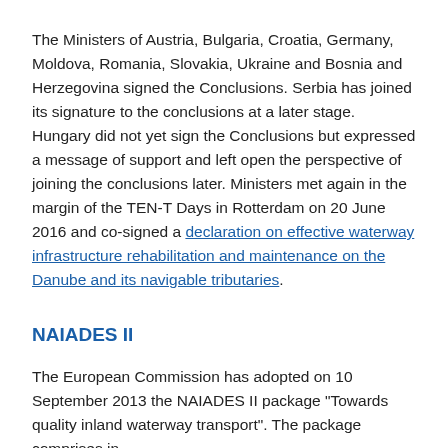The Ministers of Austria, Bulgaria, Croatia, Germany, Moldova, Romania, Slovakia, Ukraine and Bosnia and Herzegovina signed the Conclusions. Serbia has joined its signature to the conclusions at a later stage. Hungary did not yet sign the Conclusions but expressed a message of support and left open the perspective of joining the conclusions later. Ministers met again in the margin of the TEN-T Days in Rotterdam on 20 June 2016 and co-signed a declaration on effective waterway infrastructure rehabilitation and maintenance on the Danube and its navigable tributaries.
NAIADES II
The European Commission has adopted on 10 September 2013 the NAIADES II package "Towards quality inland waterway transport". The package comprises in...